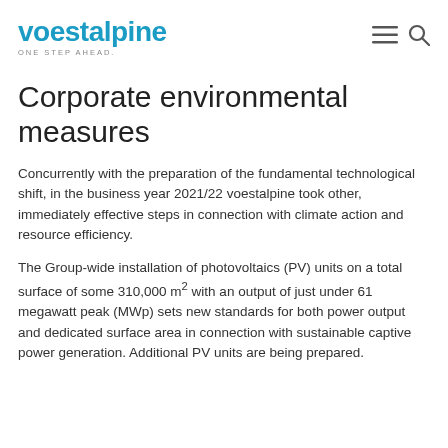voestalpine ONE STEP AHEAD.
Corporate environmental measures
Concurrently with the preparation of the fundamental technological shift, in the business year 2021/22 voestalpine took other, immediately effective steps in connection with climate action and resource efficiency.
The Group-wide installation of photovoltaics (PV) units on a total surface of some 310,000 m² with an output of just under 61 megawatt peak (MWp) sets new standards for both power output and dedicated surface area in connection with sustainable captive power generation. Additional PV units are being prepared.